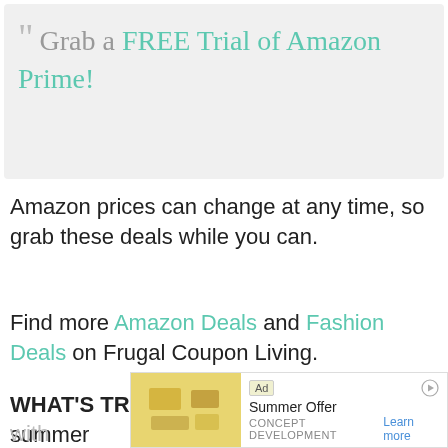" Grab a FREE Trial of Amazon Prime!
Amazon prices can change at any time, so grab these deals while you can.
Find more Amazon Deals and Fashion Deals on Frugal Coupon Living.
WHAT'S TRENDING? Get ready for summer with [ad overlay] kids!
[Figure (other): Ad banner: Summer Offer, CONCEPT DEVELOPMENT, Learn more]